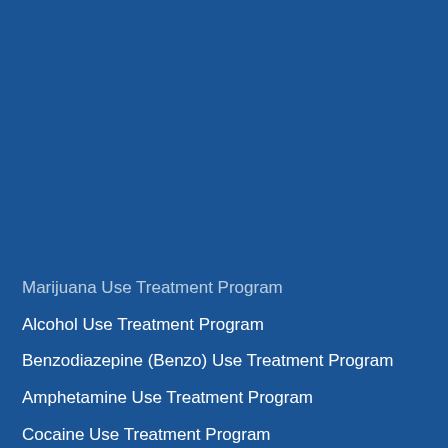Marijuana Use Treatment Program
Alcohol Use Treatment Program
Benzodiazepine (Benzo) Use Treatment Program
Amphetamine Use Treatment Program
Cocaine Use Treatment Program
Dextromethorphan (DXM) Use Treatment Program
Fentanyl Use Treatment Program
Opioid Use Treatment Program
Methamphetamine (Meth) Use Treatment Program
MDMA Use Treatment Program
Vaping Use Treatment Program
Heroin Use Treatment Program